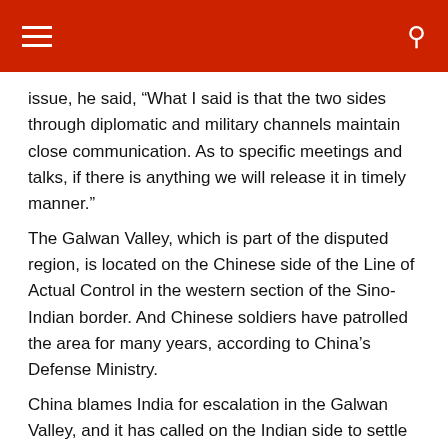[Menu] [Search]
issue, he said, “What I said is that the two sides through diplomatic and military channels maintain close communication. As to specific meetings and talks, if there is anything we will release it in timely manner.”
The Galwan Valley, which is part of the disputed region, is located on the Chinese side of the Line of Actual Control in the western section of the Sino-Indian border. And Chinese soldiers have patrolled the area for many years, according to China’s Defense Ministry.
China blames India for escalation in the Galwan Valley, and it has called on the Indian side to settle the dispute through military and diplomatic dialogue. It may be mentioned here that on May 6, Indian soldiers’ first intrusion in the China-controlled Galwan Valley. On June 15, the Chinese and Indian soldiers engaged in a nightly medieval clash in Galwan